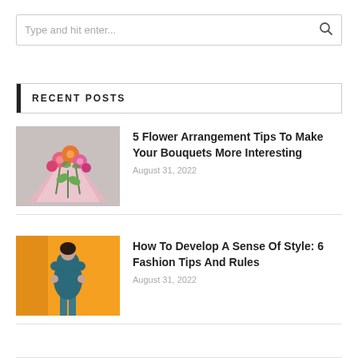Type and hit enter...
RECENT POSTS
[Figure (photo): A person holding a bouquet of pink and orange flowers wrapped in pink paper]
5 Flower Arrangement Tips To Make Your Bouquets More Interesting
August 31, 2022
[Figure (photo): A person in a teal/blue dress standing against a yellow/orange background, photographed from behind]
How To Develop A Sense Of Style: 6 Fashion Tips And Rules
August 31, 2022